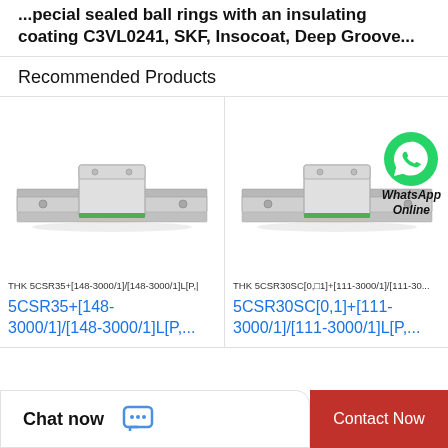...special sealed ball rings with an insulating coating C3VL0241, SKF, Insocoat, Deep Groove...
Recommended Products
[Figure (photo): THK linear guide rail with carriage block - product 5CSR35+[148-3000/1]/[148-3000/1]L[P,...]
THK 5CSR35+[148-3000/1]/[148-3000/1]L[P,...
5CSR35+[148-3000/1]/[148-3000/1]L[P,...
[Figure (photo): THK linear guide rail with carriage block - product 5CSR30SC[0,1]+[111-3000/1]/[111-3000/1]L[P,... with WhatsApp Online badge]
THK 5CSR30SC[0,□1]+[111-3000/1]/[111-3000/1]L[P,...
5CSR30SC[0,1]+[111-3000/1]/[111-3000/1]L[P,...
Chat now
Contact Now